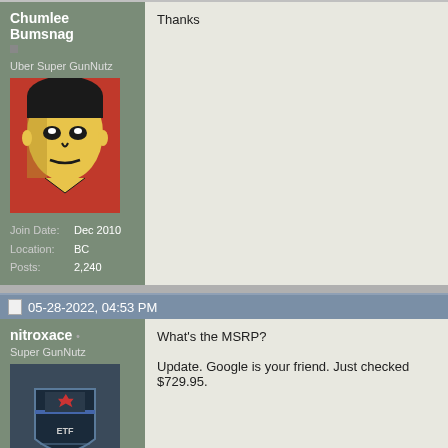Chumlee Bumsnag
Uber Super GunNutz
[Figure (illustration): Avatar image of a stylized pop-art face in red, yellow and black]
Join Date: Dec 2010
Location: BC
Posts: 2,240
Thanks
05-28-2022, 04:53 PM
nitroxace
Super GunNutz
[Figure (illustration): Avatar image showing a shield/crest logo with a maple leaf and ETF text]
Join Date: Feb 2020
What's the MSRP?

Update. Google is your friend. Just checked $729.95.